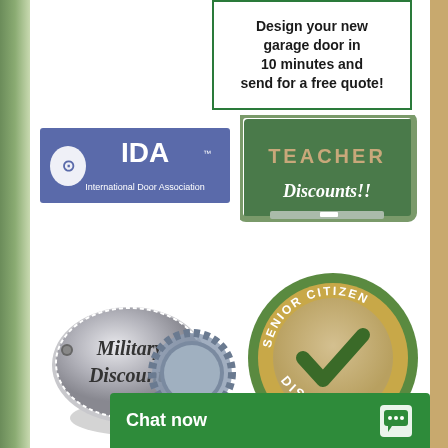[Figure (infographic): Banner box with text: Design your new garage door in 10 minutes and send for a free quote!]
[Figure (logo): IDA - International Door Association logo with shield icon]
[Figure (infographic): Green chalkboard graphic with text: TEACHER Discounts!!]
[Figure (infographic): Silver military dog tag badge with text: Military Discounts]
[Figure (infographic): Round green/gold Senior Citizen Discount badge with checkmark]
[Figure (infographic): Partially visible seal/badge at bottom center]
[Figure (infographic): Chat now green bar at bottom with chat icon]